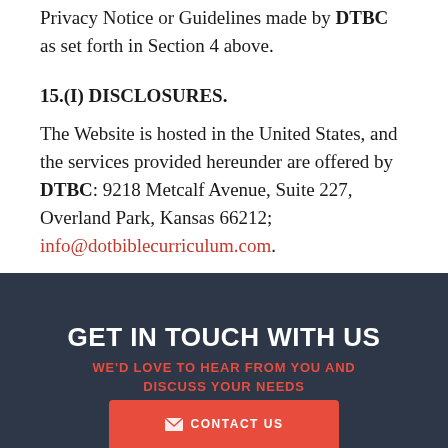Privacy Notice or Guidelines made by DTBC as set forth in Section 4 above.
15.(I) DISCLOSURES.
The Website is hosted in the United States, and the services provided hereunder are offered by DTBC: 9218 Metcalf Avenue, Suite 227, Overland Park, Kansas 66212; info@dotbiblecurriculum.com.
GET IN TOUCH WITH US
WE'D LOVE TO HEAR FROM YOU AND DISCUSS YOUR NEEDS
CONTACT US